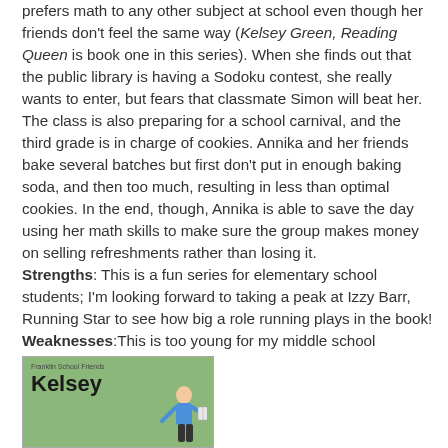prefers math to any other subject at school even though her friends don't feel the same way (Kelsey Green, Reading Queen is book one in this series). When she finds out that the public library is having a Sodoku contest, she really wants to enter, but fears that classmate Simon will beat her. The class is also preparing for a school carnival, and the third grade is in charge of cookies. Annika and her friends bake several batches but first don't put in enough baking soda, and then too much, resulting in less than optimal cookies. In the end, though, Annika is able to save the day using her math skills to make sure the group makes money on selling refreshments rather than losing it. Strengths: This is a fun series for elementary school students; I'm looking forward to taking a peak at Izzy Barr, Running Star to see how big a role running plays in the book! Weaknesses:This is too young for my middle school students.
[Figure (illustration): Book cover of 'Kelsey' from the Franklin School Friends series, shown partially. Green background with the title 'Kelsey' in large handwritten-style font and a small figure illustration at the bottom right.]